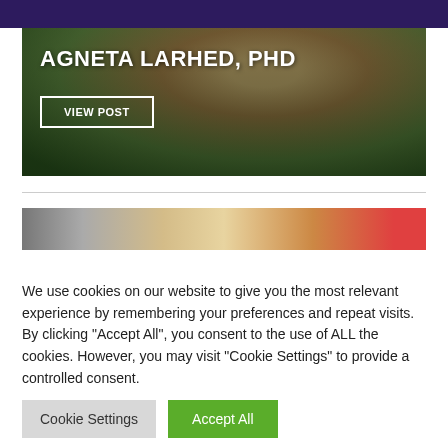[Figure (photo): Hero image of Agneta Larhed, PhD — a smiling woman with blonde hair against a dark green background, with bold white text overlay reading 'AGNETA LARHED, PHD' and a 'VIEW POST' button with white border]
[Figure (photo): Partial cropped image showing a person in a colorful setting]
We use cookies on our website to give you the most relevant experience by remembering your preferences and repeat visits. By clicking "Accept All", you consent to the use of ALL the cookies. However, you may visit "Cookie Settings" to provide a controlled consent.
Cookie Settings   Accept All